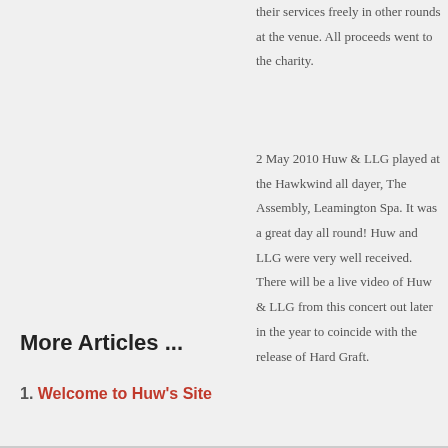their services freely in other rounds at the venue. All proceeds went to the charity.
2 May 2010 Huw & LLG played at the Hawkwind all dayer, The Assembly, Leamington Spa. It was a great day all round! Huw and LLG were very well received. There will be a live video of Huw & LLG from this concert out later in the year to coincide with the release of Hard Graft.
More Articles ...
1. Welcome to Huw's Site